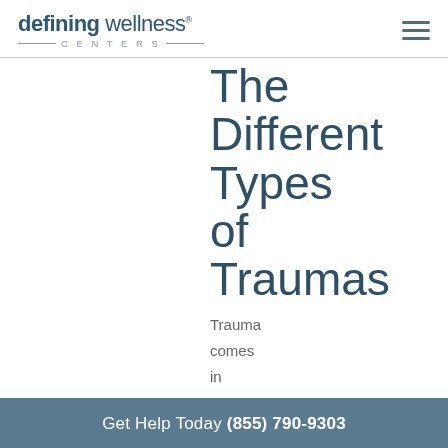defining wellness® CENTERS
The Different Types of Traumas
Trauma comes in many
Get Help Today (855) 790-9303